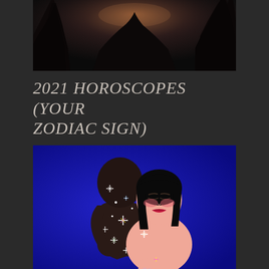[Figure (photo): Dark atmospheric photo of night sky with silhouetted trees, moody dusk or twilight scene]
2021 HOROSCOPES (YOUR ZODIAC SIGN)
[Figure (illustration): Illustration of two figures embracing on a deep blue background — one figure is dark/shadowy with sparkles and stars on their body, the other is a woman with black hair, pink skin, rosy cheeks, and red lips, wearing minimal clothing, holding the shadowy figure close]